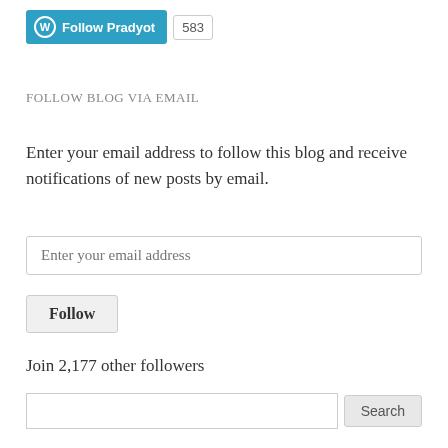[Figure (other): WordPress Follow button with 'Follow Pradyot' label in teal/blue, alongside a follower count badge showing 583]
FOLLOW BLOG VIA EMAIL
Enter your email address to follow this blog and receive notifications of new posts by email.
[Figure (other): Email input field with placeholder text 'Enter your email address']
[Figure (other): Follow button]
Join 2,177 other followers
[Figure (other): Search input field with Search button]